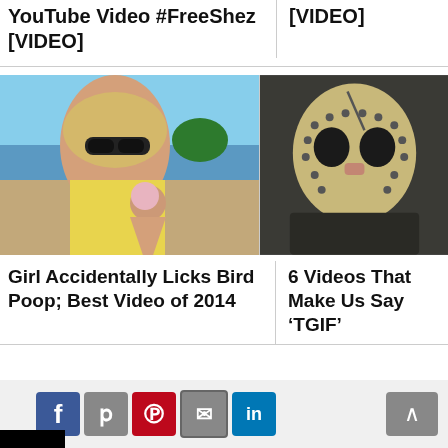YouTube Video #FreeShez [VIDEO]
[VIDEO]
[Figure (photo): Woman with sunglasses holding an ice cream cone at the beach]
[Figure (photo): Person wearing a hockey mask (Jason Voorhees style)]
Girl Accidentally Licks Bird Poop; Best Video of 2014
6 Videos That Make Us Say ‘TGIF’
[Figure (infographic): Social sharing bar with Facebook, Twitter, Pinterest, Email, LinkedIn buttons and back-to-top arrow]